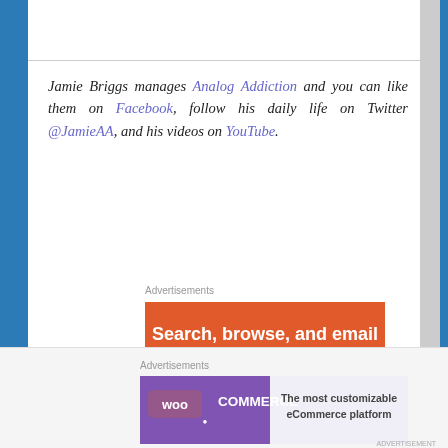Jamie Briggs manages Analog Addiction and you can like them on Facebook, follow his daily life on Twitter @JamieAA, and his videos on YouTube.
Advertisements
[Figure (photo): DuckDuckGo advertisement: orange background with white text 'Search, browse, and email with more privacy.' and 'All in One Free App' button, showing a smartphone with DuckDuckGo logo.]
Advertisements
[Figure (photo): WooCommerce advertisement: purple/white background with WooCommerce logo and text 'The most customizable eCommerce platform']